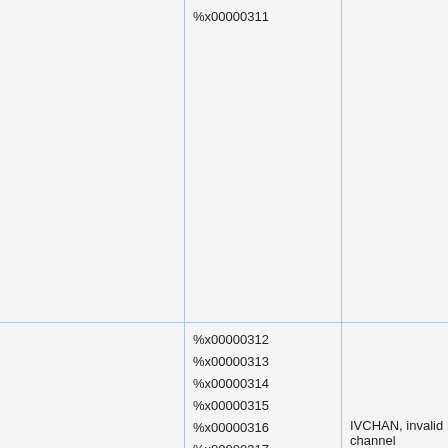| %x00000311 |  |  |
| %x00000312
%x00000313
%x00000314
%x00000315
%x00000316
%x00000317
%x00000318... |  | IVCHAN, invalid I/O channel |